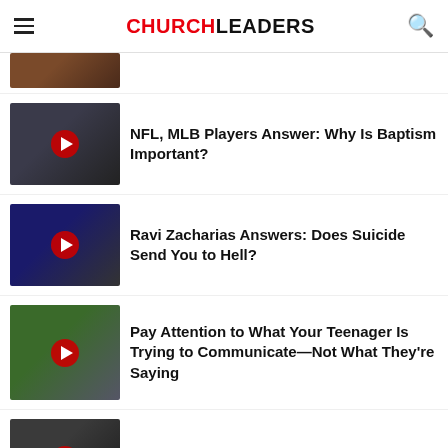CHURCHLEADERS
[Figure (photo): Partial thumbnail of an article at the top of the list, cropped]
NFL, MLB Players Answer: Why Is Baptism Important?
Ravi Zacharias Answers: Does Suicide Send You to Hell?
Pay Attention to What Your Teenager Is Trying to Communicate—Not What They're Saying
Chris Pratt's 9 Rules for a Good Life